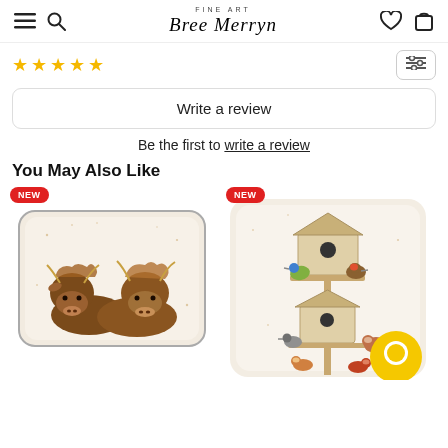Bree Merryn Fine Art — navigation header with hamburger, search, wishlist, bag icons
★★★★★ (star rating row with filter button)
Write a review
Be the first to write a review
You May Also Like
[Figure (photo): Cushion product with highland cows watercolour art, NEW badge]
[Figure (photo): Cushion product with garden birds on birdhouses watercolour art, NEW badge]